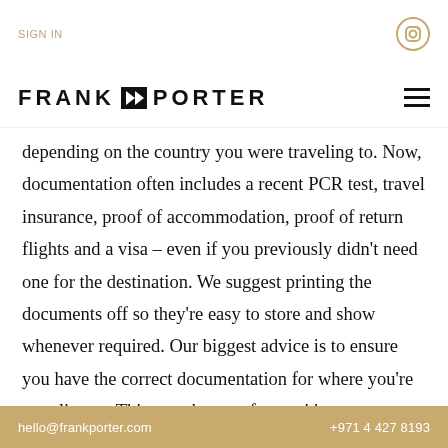SIGN IN
FRANK & PORTER
depending on the country you were traveling to. Now, documentation often includes a recent PCR test, travel insurance, proof of accommodation, proof of return flights and a visa – even if you previously didn't need one for the destination. We suggest printing the documents off so they're easy to store and show whenever required.  Our biggest advice is to ensure you have the correct documentation for where you're traveling to.  This can change often so it's
hello@frankporter.com   +971 4 427 8193